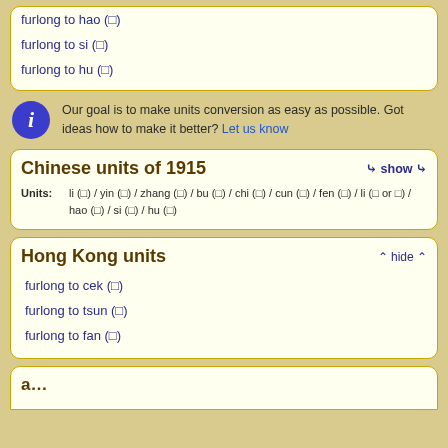furlong to hao (□)
furlong to si (□)
furlong to hu (□)
Our goal is to make units conversion as easy as possible. Got ideas how to make it better? Let us know
Chinese units of 1915
Units: li (□) / yin (□) / zhang (□) / bu (□) / chi (□) / cun (□) / fen (□) / li (□ or □) / hao (□) / si (□) / hu (□)
Hong Kong units
furlong to cek (□)
furlong to tsun (□)
furlong to fan (□)